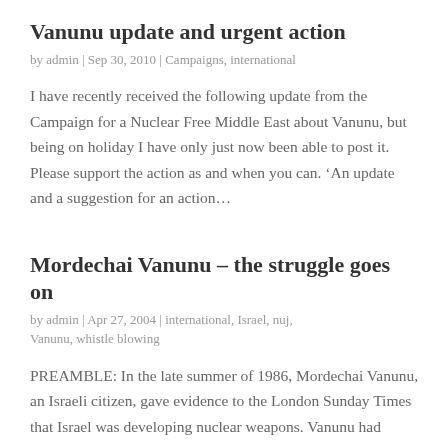Vanunu update and urgent action
by admin | Sep 30, 2010 | Campaigns, international
I have recently received the following update from the Campaign for a Nuclear Free Middle East about Vanunu, but being on holiday I have only just now been able to post it. Please support the action as and when you can. ‘An update and a suggestion for an action…
Mordechai Vanunu – the struggle goes on
by admin | Apr 27, 2004 | international, Israel, nuj, Vanunu, whistle blowing
PREAMBLE: In the late summer of 1986, Mordechai Vanunu, an Israeli citizen, gave evidence to the London Sunday Times that Israel was developing nuclear weapons. Vanunu had discovered this while he was employed at the Dimona Nuclear Power Plant